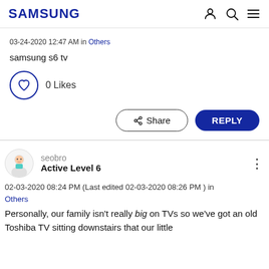SAMSUNG
03-24-2020 12:47 AM in Others
samsung s6 tv
0 Likes
Share   REPLY
seobro
Active Level 6
02-03-2020 08:24 PM (Last edited 02-03-2020 08:26 PM ) in Others
Personally, our family isn't really big on TVs so we've got an old Toshiba TV sitting downstairs that our little